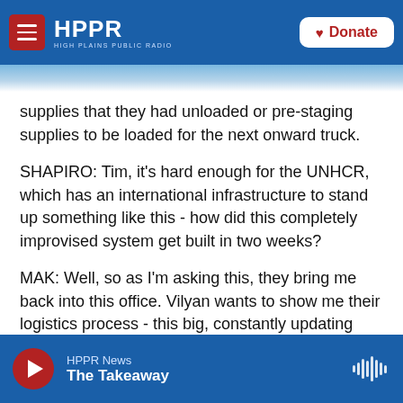HPPR - High Plains Public Radio | Donate
supplies that they had unloaded or pre-staging supplies to be loaded for the next onward truck.
SHAPIRO: Tim, it's hard enough for the UNHCR, which has an international infrastructure to stand up something like this - how did this completely improvised system get built in two weeks?
MAK: Well, so as I'm asking this, they bring me back into this office. Vilyan wants to show me their logistics process - this big, constantly updating Excel file with requests from various hotspots and supplies they want to pull into the country.
HPPR News | The Takeaway